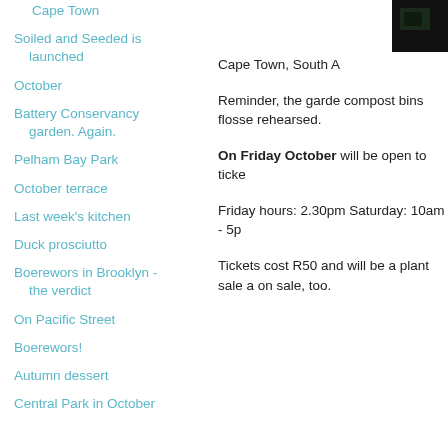Cape Town
Soiled and Seeded is launched
October
Battery Conservancy garden. Again.
Pelham Bay Park
October terrace
Last week's kitchen
Duck prosciutto
Boerewors in Brooklyn - the verdict
On Pacific Street
Boerewors!
Autumn dessert
Central Park in October
[Figure (photo): Dark thumbnail image in upper right corner]
Cape Town, South A
Reminder, the garde compost bins flosse rehearsed.
On Friday October will be open to ticke
Friday hours: 2.30pm Saturday: 10am - 5p
Tickets cost R50 and will be a plant sale a on sale, too.